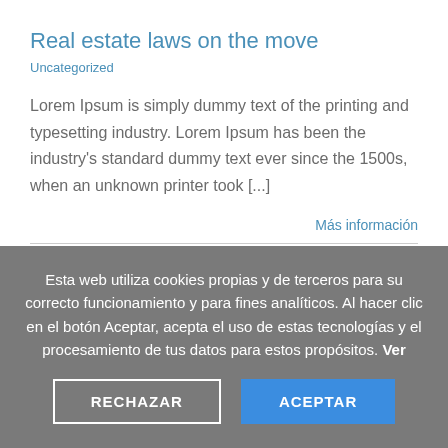Real estate laws on the move
Uncategorized
Lorem Ipsum is simply dummy text of the printing and typesetting industry. Lorem Ipsum has been the industry's standard dummy text ever since the 1500s, when an unknown printer took [...]
Más información
Esta web utiliza cookies propias y de terceros para su correcto funcionamiento y para fines analíticos. Al hacer clic en el botón Aceptar, acepta el uso de estas tecnologías y el procesamiento de tus datos para estos propósitos. Ver
RECHAZAR
ACEPTAR